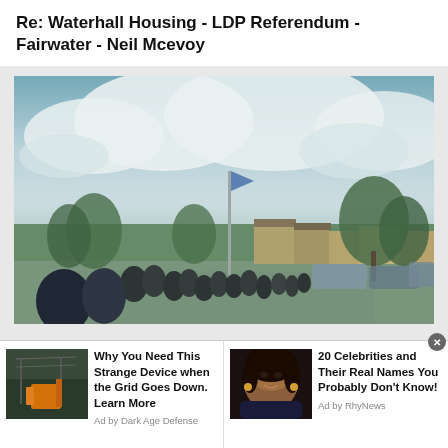Re: Waterhall Housing - LDP Referendum - Fairwater - Neil Mcevoy
[Figure (photo): Outdoor scene showing a crowd of people gathered in a car park or open area. There are trees, residential buildings, a flagpole with a flag, parked cars, and an overcast sky with clouds in the background. The image has a slightly vintage/tinted appearance.]
Why You Need This Strange Device when the Grid Goes Down. Learn More
Ad by Dark Age Defense
20 Celebrities and Their Real Names You Probably Don't Know!
Ad by RhyNews